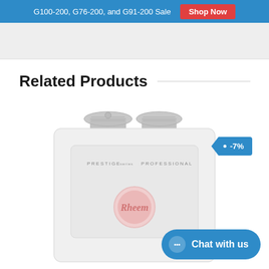G100-200, G76-200, and G91-200 Sale  Shop Now
Related Products
[Figure (photo): Rheem Prestige Professional tankless water heater, white unit with two gray vent caps on top and a Rheem logo in the center]
-7%
Chat with us